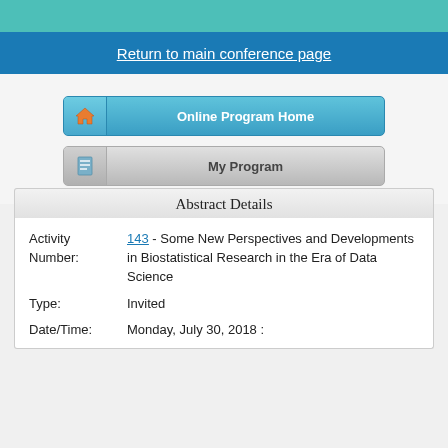Return to main conference page
[Figure (screenshot): Online Program Home button (blue) and My Program button (gray)]
Abstract Details
| Activity Number: | 143 - Some New Perspectives and Developments in Biostatistical Research in the Era of Data Science |
| Type: | Invited |
| Date/Time: | Monday, July 30, 2018 : |